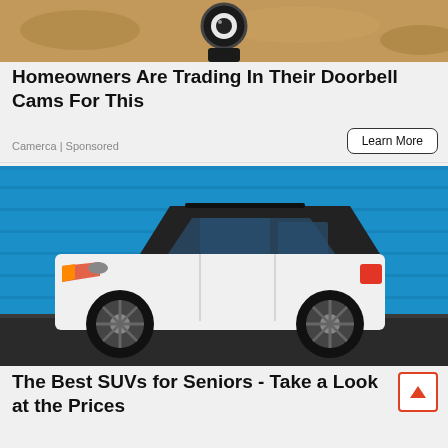[Figure (photo): Top portion of a security camera/doorbell cam product against a sandy/rocky background]
Homeowners Are Trading In Their Doorbell Cams For This
Camerca | Sponsored
Learn More
[Figure (photo): White SUV (Volvo XC40 style) parked in front of a blue wall, side profile view]
The Best SUVs for Seniors - Take a Look at the Prices